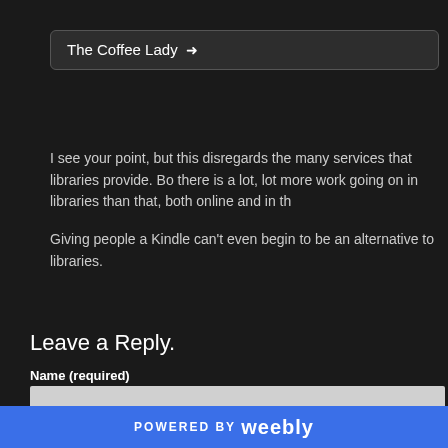The Coffee Lady →
I see your point, but this disregards the many services that libraries provide. Bo there is a lot, lot more work going on in libraries than that, both online and in t
Giving people a Kindle can't even begin to be an alternative to libraries.
Leave a Reply.
Name (required)
Email (not published)
POWERED BY weebly